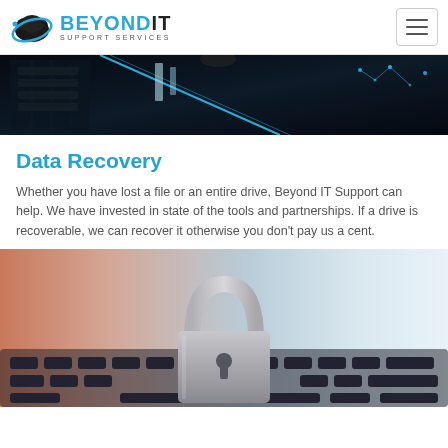BEYOND IT SUPPORT SERVICES
[Figure (photo): Dark server room with glowing blue lights and circuit board elements viewed from below]
Data Recovery
Whether you have lost a file or an entire drive, Beyond IT Support can help. We have invested in state of the tools and partnerships. If a drive is recoverable, we can recover it otherwise you don't pay us a cent.
[Figure (photo): Padlock on a laptop keyboard, blurred background with warm and cool color tones]